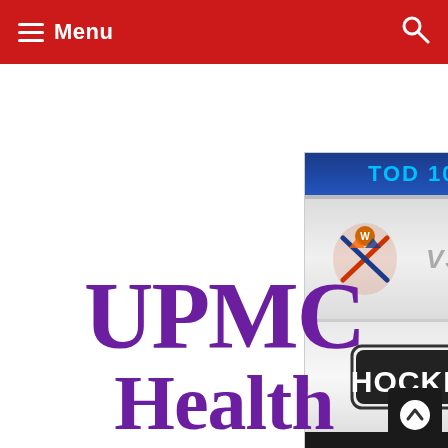Menu
[Figure (screenshot): HockeyTV broadcast graphic showing two hockey team logos vs each other, HockeyTV logo, and 'CLICK TO WATCH: WWW.HOCKEYTV.COM' bar, with TOD 10:24:00 timer at top]
UPMC HEALTH